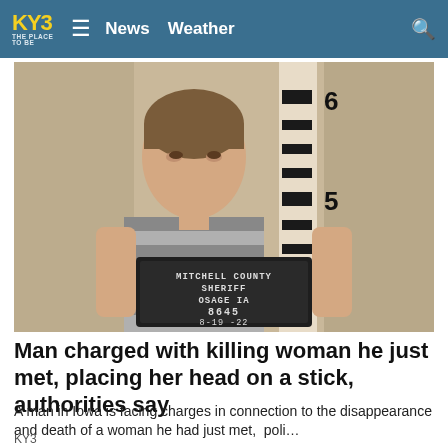KY3  News  Weather
[Figure (photo): Mugshot of a young man in a gray striped jail uniform holding a Mitchell County Sheriff Osage IA booking sign numbered 8645 dated 8-19-22, standing against a height measurement wall showing markings at 5 and 6 feet.]
Man charged with killing woman he just met, placing her head on a stick, authorities say
A man in Iowa is facing charges in connection to the disappearance and death of a woman he had just met,  poli…
KY3